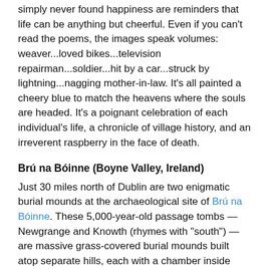simply never found happiness are reminders that life can be anything but cheerful. Even if you can't read the poems, the images speak volumes: weaver...loved bikes...television repairman...soldier...hit by a car...struck by lightning...nagging mother-in-law. It's all painted a cheery blue to match the heavens where the souls are headed. It's a poignant celebration of each individual's life, a chronicle of village history, and an irreverent raspberry in the face of death.
Brú na Bóinne (Boyne Valley, Ireland)
Just 30 miles north of Dublin are two enigmatic burial mounds at the archaeological site of Brú na Bóinne. These 5,000-year-old passage tombs — Newgrange and Knowth (rhymes with "south") — are massive grass-covered burial mounds built atop separate hills, each with a chamber inside reached by a narrow stone passage. The tombs are both precisely aligned to the sun's movements so that a beam of light creeps down the passageway and lights up the chambers — Newgrange at the winter solstice, and Knowth at the equinox. Perhaps the ancients